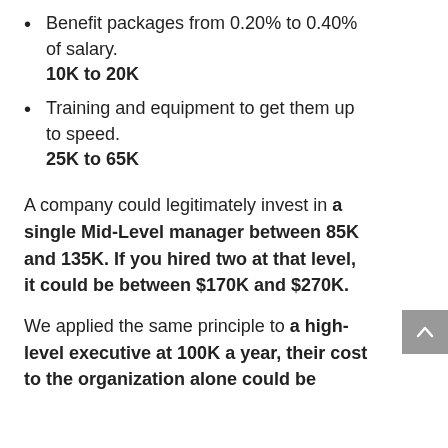Benefit packages from 0.20% to 0.40% of salary. 10K to 20K
Training and equipment to get them up to speed. 25K to 65K
A company could legitimately invest in a single Mid-Level manager between 85K and 135K. If you hired two at that level, it could be between $170K and $270K.
We applied the same principle to a high-level executive at 100K a year, their cost to the organization alone could be